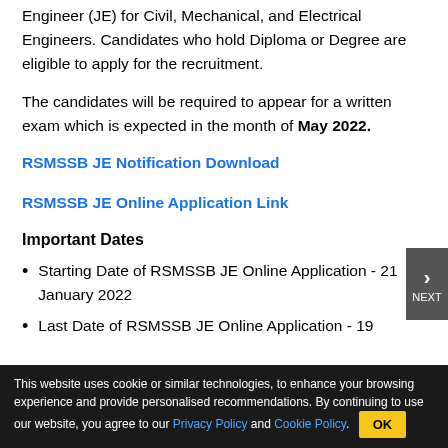Engineer (JE) for Civil, Mechanical, and Electrical Engineers. Candidates who hold Diploma or Degree are eligible to apply for the recruitment.
The candidates will be required to appear for a written exam which is expected in the month of May 2022.
RSMSSB JE Notification Download
RSMSSB JE Online Application Link
Important Dates
Starting Date of RSMSSB JE Online Application - 21 January 2022
Last Date of RSMSSB JE Online Application - 19
This website uses cookie or similar technologies, to enhance your browsing experience and provide personalised recommendations. By continuing to use our website, you agree to our Privacy Policy and Cookie Policy.